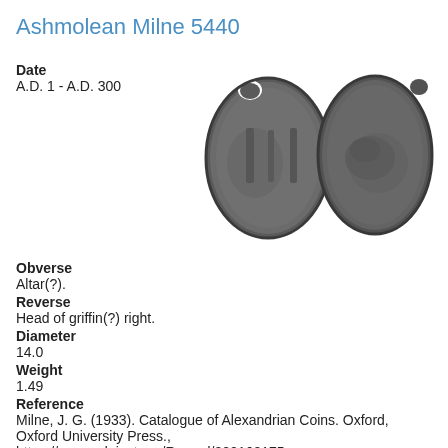Ashmolean Milne 5440
Date
A.D. 1 - A.D. 300
[Figure (photo): Two ancient coins photographed against a white background. Left coin shows an obverse with what appears to be an altar design. Right coin shows a reverse with a head of griffin facing right.]
Obverse
Altar(?).
Reverse
Head of griffin(?) right.
Diameter
14.0
Weight
1.49
Reference
Milne, J. G. (1933). Catalogue of Alexandrian Coins. Oxford, Oxford University Press.,
https://zenon.dainst.org/Record/000160175